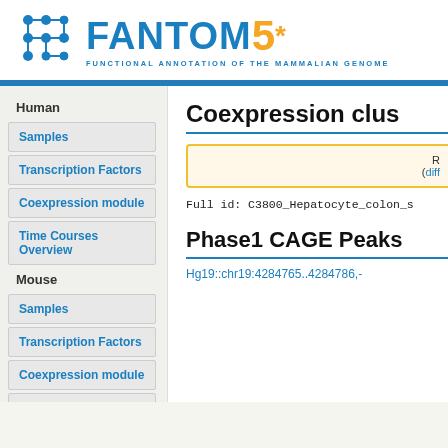[Figure (logo): FANTOM5 logo with blue network icon, blue FANTOM text, orange 5 and asterisk, subtitle FUNCTIONAL ANNOTATION OF THE MAMMALIAN GENOME]
Human
Samples
Transcription Factors
Coexpression module
Time Courses Overview
Mouse
Samples
Transcription Factors
Coexpression module
Time Courses Overview
Coexpression clus
R
(diff
Full id: C3800_Hepatocyte_colon_s
Phase1 CAGE Peaks
Hg19::chr19:4284765..4284786,-